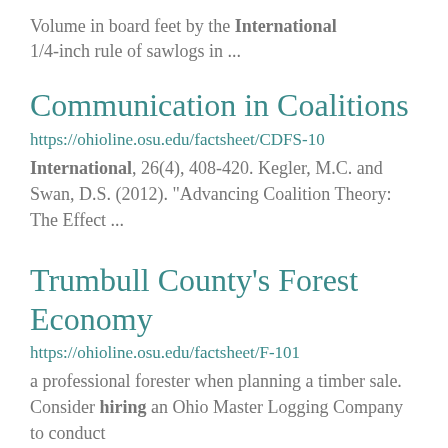Volume in board feet by the International 1/4-inch rule of sawlogs in ...
Communication in Coalitions
https://ohioline.osu.edu/factsheet/CDFS-10
International, 26(4), 408-420. Kegler, M.C. and Swan, D.S. (2012). "Advancing Coalition Theory: The Effect ...
Trumbull County's Forest Economy
https://ohioline.osu.edu/factsheet/F-101
a professional forester when planning a timber sale. Consider hiring an Ohio Master Logging Company to conduct